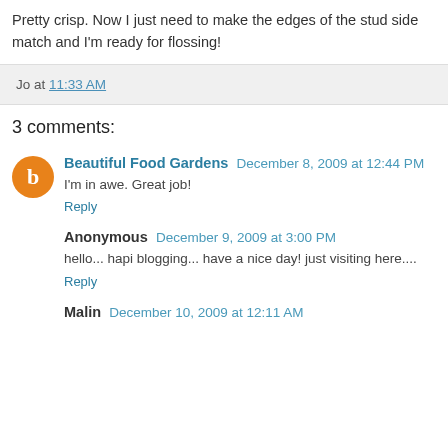Pretty crisp. Now I just need to make the edges of the stud side match and I'm ready for flossing!
Jo at 11:33 AM
3 comments:
Beautiful Food Gardens  December 8, 2009 at 12:44 PM
I'm in awe. Great job!
Reply
Anonymous  December 9, 2009 at 3:00 PM
hello... hapi blogging... have a nice day! just visiting here....
Reply
Malin  December 10, 2009 at 12:11 AM